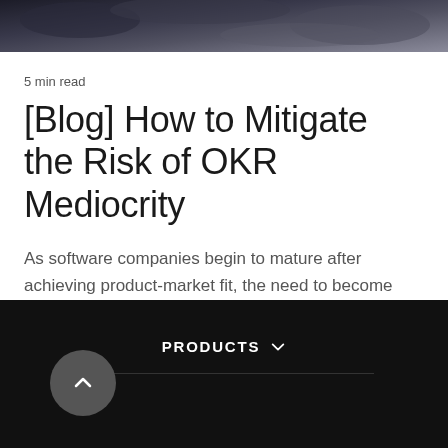[Figure (photo): Dark moody landscape or nature photo, partially cropped at top of page, showing dark blues and grays]
5 min read
[Blog] How to Mitigate the Risk of OKR Mediocrity
As software companies begin to mature after achieving product-market fit, the need to become more operationally mature...
PRODUCTS ▾